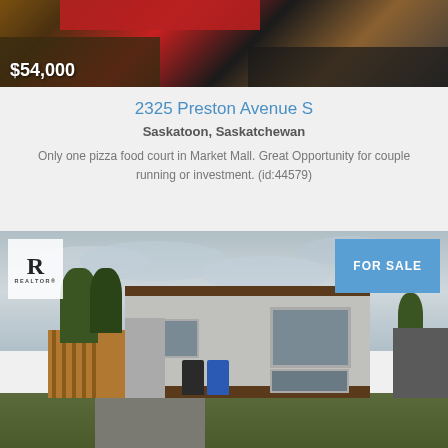[Figure (photo): Interior photo of a food court location showing counters and equipment, with price label $54,000 overlaid]
2325 Preston Avenue S
Saskatoon, Saskatchewan
Only one pizza food court in Market Mall. Great Opportunity for couple running or investment. (id:44579)
[Figure (photo): Exterior photo of a mobile home for sale in Saskatoon, Saskatchewan, with Realtor logo and FOR SALE badge]